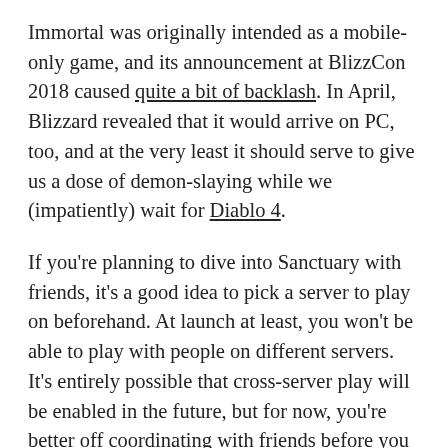Immortal was originally intended as a mobile-only game, and its announcement at BlizzCon 2018 caused quite a bit of backlash. In April, Blizzard revealed that it would arrive on PC, too, and at the very least it should serve to give us a dose of demon-slaying while we (impatiently) wait for Diablo 4.
If you're planning to dive into Sanctuary with friends, it's a good idea to pick a server to play on beforehand. At launch at least, you won't be able to play with people on different servers. It's entirely possible that cross-server play will be enabled in the future, but for now, you're better off coordinating with friends before you get started. So with that in mind, here's a list of every Diablo Immortal server, and how to check if they're down.